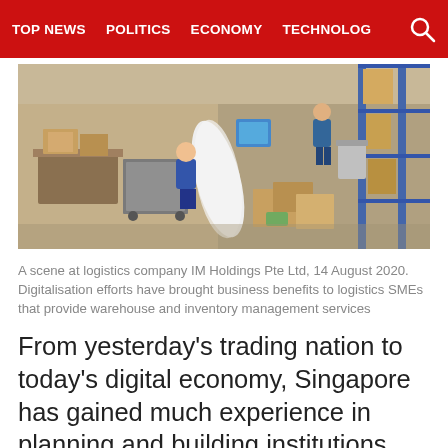TOP NEWS   POLITICS   ECONOMY   TECHNOLOG
[Figure (photo): Aerial view of a logistics warehouse with workers sorting packages and boxes at IM Holdings Pte Ltd]
A scene at logistics company IM Holdings Pte Ltd, 14 August 2020. Digitalisation efforts have brought business benefits to logistics SMEs that provide warehouse and inventory management services
From yesterday’s trading nation to today’s digital economy, Singapore has gained much experience in planning and building institutions, systems, and measures in international trade, cooperation and